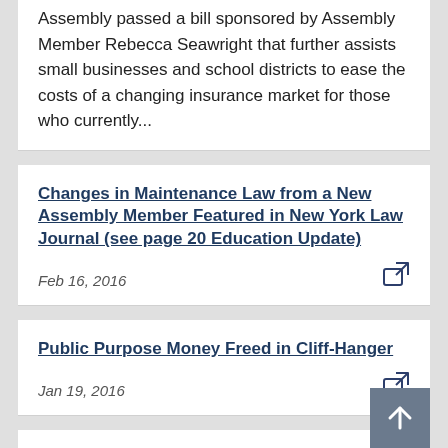Assembly passed a bill sponsored by Assembly Member Rebecca Seawright that further assists small businesses and school districts to ease the costs of a changing insurance market for those who currently...
Changes in Maintenance Law from a New Assembly Member Featured in New York Law Journal (see page 20 Education Update)
Feb 16, 2016
Public Purpose Money Freed in Cliff-Hanger
Jan 19, 2016
Cuomo Signs Two Seawright Bills
Jan 18, 2016